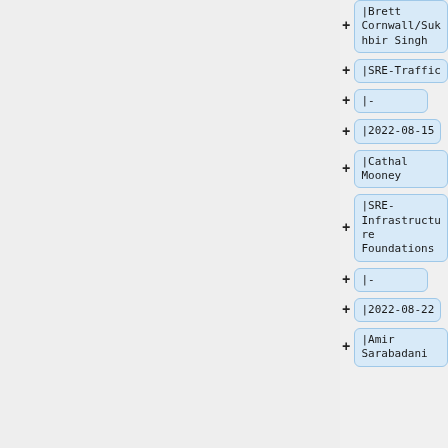|Brett Cornwall/Sukhbir Singh
|SRE-Traffic
|-
|2022-08-15
|Cathal Mooney
|SRE-Infrastructure Foundations
|-
|2022-08-22
|Amir Sarabadani